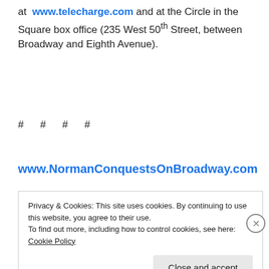at www.telecharge.com and at the Circle in the Square box office (235 West 50th Street, between Broadway and Eighth Avenue).
# # # #
www.NormanConquestsOnBroadway.com
Privacy & Cookies: This site uses cookies. By continuing to use this website, you agree to their use. To find out more, including how to control cookies, see here: Cookie Policy
Close and accept